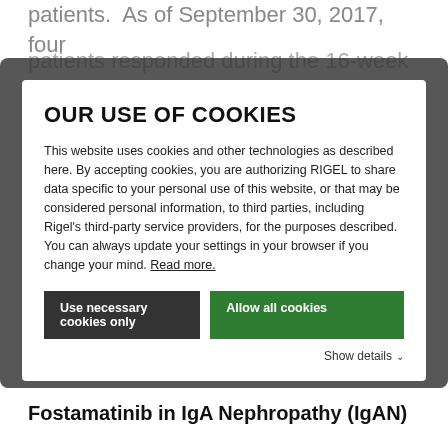patients.  As of September 30, 2017, four patients responded during the 16-week ... two patients ... study ... of
OUR USE OF COOKIES
This website uses cookies and other technologies as described here. By accepting cookies, you are authorizing RIGEL to share data specific to your personal use of this website, or that may be considered personal information, to third parties, including Rigel's third-party service providers, for the purposes described. You can always update your settings in your browser if you change your mind. Read more.
Use necessary cookies only
Allow all cookies
Show details
profile was consistent with the existing fostamatinib safety database.
Fostamatinib in IgA Nephropathy (IgAN)